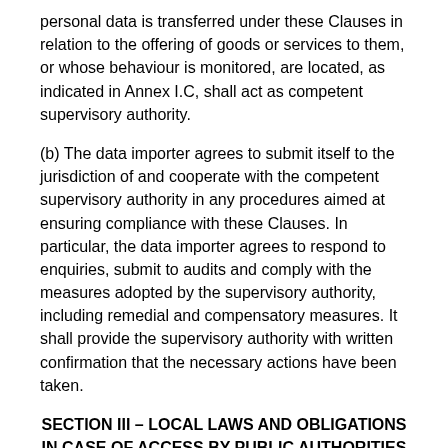personal data is transferred under these Clauses in relation to the offering of goods or services to them, or whose behaviour is monitored, are located, as indicated in Annex I.C, shall act as competent supervisory authority.
(b) The data importer agrees to submit itself to the jurisdiction of and cooperate with the competent supervisory authority in any procedures aimed at ensuring compliance with these Clauses. In particular, the data importer agrees to respond to enquiries, submit to audits and comply with the measures adopted by the supervisory authority, including remedial and compensatory measures. It shall provide the supervisory authority with written confirmation that the necessary actions have been taken.
SECTION III – LOCAL LAWS AND OBLIGATIONS IN CASE OF ACCESS BY PUBLIC AUTHORITIES
Clause 14